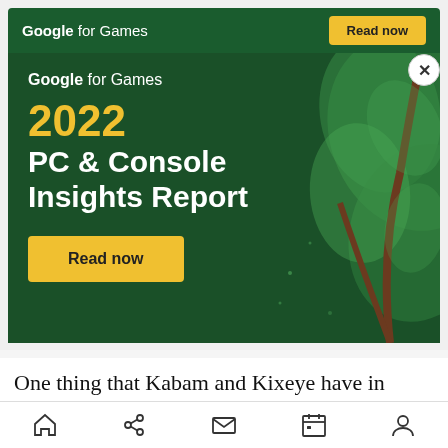[Figure (infographic): Google for Games advertisement banner. Top bar shows 'Google for Games' logo and a yellow 'Read now' button on dark green background. Main area shows dark green background with decorative plant/leaf illustration, text reading 'Google for Games', '2022 PC & Console Insights Report', and a yellow 'Read now' button. A close (X) button is in the top-right corner.]
One thing that Kabam and Kixeye have in common is they’ve both discovered the hardcore audience on Facebook is in the millions of users and that
[Figure (infographic): Mobile bottom navigation bar with icons: home, share, mail, calendar, and person/profile.]